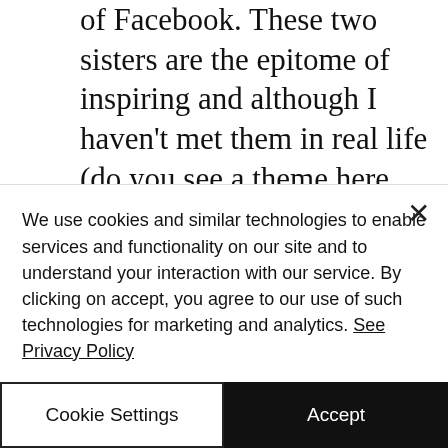of Facebook. These two sisters are the epitome of inspiring and although I haven't met them in real life (do you see a theme here with this series?) I feel giddy when I think of all they've done since I stumbled across the Women Who Explore Instagram page a few years back. From an account to inspire and promote all the bad ass babes around who are exploring this big bold World, to a household name
We use cookies and similar technologies to enable services and functionality on our site and to understand your interaction with our service. By clicking on accept, you agree to our use of such technologies for marketing and analytics. See Privacy Policy